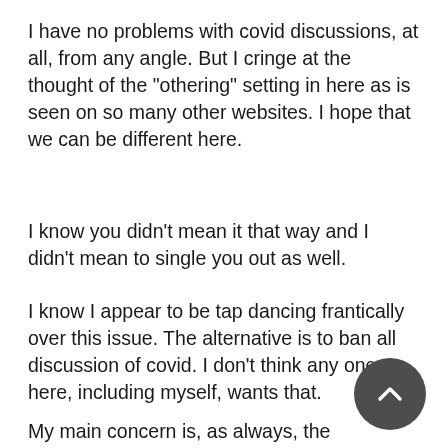I have no problems with covid discussions, at all, from any angle. But I cringe at the thought of the "othering" setting in here as is seen on so many other websites. I hope that we can be different here.
I know you didn't mean it that way and I didn't mean to single you out as well.
I know I appear to be tap dancing frantically over this issue. The alternative is to ban all discussion of covid. I don't think any one here, including myself, wants that.
My main concern is, as always, the